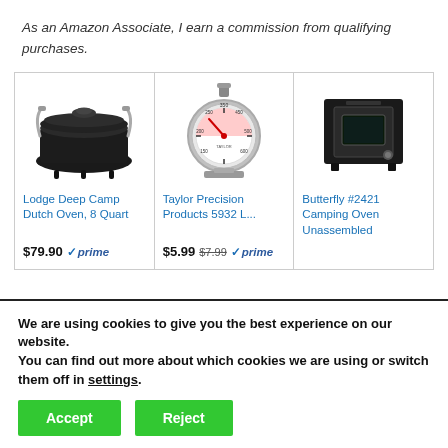As an Amazon Associate, I earn a commission from qualifying purchases.
[Figure (photo): Lodge Deep Camp Dutch Oven black cast iron pot with handle and lid]
[Figure (photo): Taylor Precision Products 5932 large dial oven thermometer with red needle, showing temperature range]
[Figure (photo): Butterfly #2421 Camping Oven Unassembled black metal box oven]
Lodge Deep Camp Dutch Oven, 8 Quart
$79.90 prime
Taylor Precision Products 5932 L...
$5.99 $7.99 prime
Butterfly #2421 Camping Oven Unassembled
We are using cookies to give you the best experience on our website.
You can find out more about which cookies we are using or switch them off in settings.
Accept
Reject